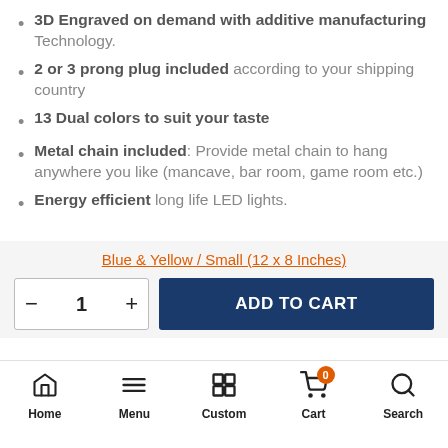3D Engraved on demand with additive manufacturing Technology.
2 or 3 prong plug included according to your shipping country
13 Dual colors to suit your taste
Metal chain included: Provide metal chain to hang anywhere you like (mancave, bar room, game room etc.)
Energy efficient long life LED lights.
Blue & Yellow / Small (12 x 8 Inches)
- 1 + ADD TO CART
Home   Menu   Custom   Cart   Search